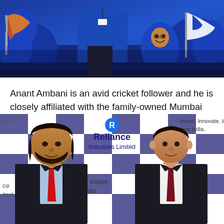[Figure (photo): Crowd of Mumbai Indians cricket fans in blue team jerseys and caps, holding Mumbai Indians flags with orange phoenix logo, cheering at a cricket match venue.]
Anant Ambani is an avid cricket follower and he is closely affiliated with the family-owned Mumbai Indians, which plays in the Indian Premier League.
[Figure (photo): Two young men in suits standing in front of a Reliance Industries Limited backdrop. Left person wears a black suit with a red tie and light blue shirt. Right person wears a black suit with a dark red tie and white shirt. The Reliance Industries Limited logo and text 'Invest. Innovate. Inspire. new India.' is visible on the backdrop.]